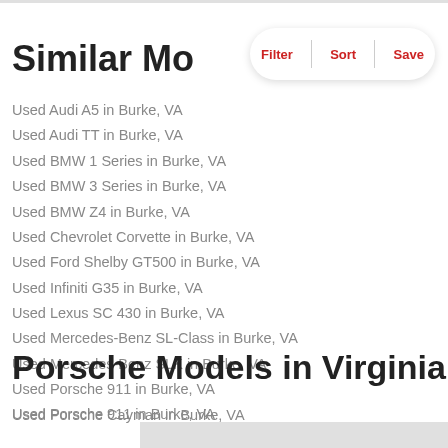Similar Mo
[Figure (screenshot): Filter / Sort / Save button bar with rounded rectangle shape, red text labels, dividers between options]
Used Audi A5 in Burke, VA
Used Audi TT in Burke, VA
Used BMW 1 Series in Burke, VA
Used BMW 3 Series in Burke, VA
Used BMW Z4 in Burke, VA
Used Chevrolet Corvette in Burke, VA
Used Ford Shelby GT500 in Burke, VA
Used Infiniti G35 in Burke, VA
Used Lexus SC 430 in Burke, VA
Used Mercedes-Benz SL-Class in Burke, VA
Used Mercedes-Benz SLK in Burke, VA
Used Porsche 911 in Burke, VA
Used Porsche Cayman in Burke, VA
Porsche Models in Virginia
Used Porsche 911 in Burke, VA